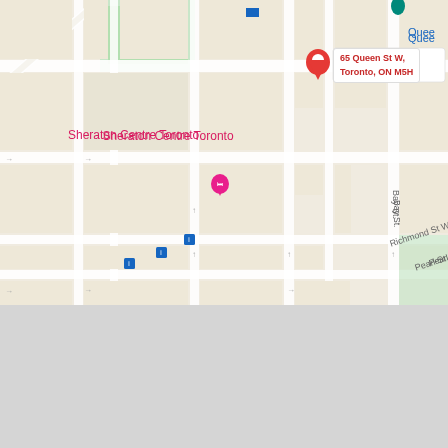[Figure (map): Google Maps screenshot showing downtown Toronto around 65 Queen St W, Toronto, ON M5H. Visible landmarks include Sheraton Centre Toronto, Hilton Toronto, Shangri-La Toronto, Osgoode subway station, Cactus Club Cafe First Canadian Place, and First Canadian Place. Streets shown include Queen St W, Richmond St W, Pearl St, and Bay St.]